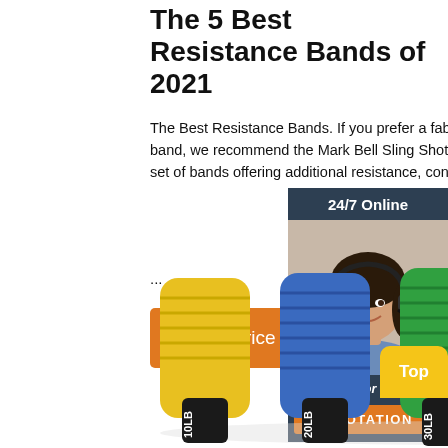The 5 Best Resistance Bands of 2021
The Best Resistance Bands. If you prefer a fabric-loop resistance band, we recommend the Mark Bell Sling Shot Hip Circle. For a set of bands offering additional resistance, consi
...
[Figure (other): Orange 'Get Price' button]
[Figure (other): 24/7 Online chat widget with female agent photo, 'Click here for free chat!' text, and orange QUOTATION button]
[Figure (other): Set of 5 resistance bands labeled 10LB, 20LB, 30LB, 40LB, 50LB in yellow, blue, green, black, and red colors with black handles]
[Figure (other): Yellow 'Top' button]